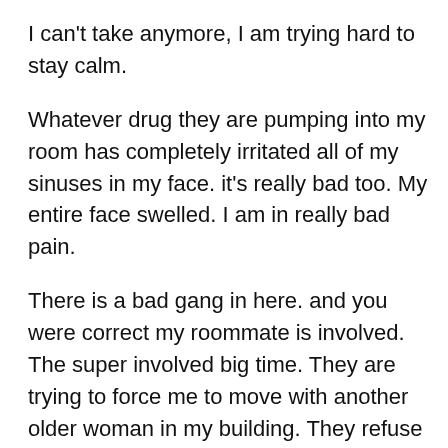I can't take anymore, I am trying hard to stay calm.
Whatever drug they are pumping into my room has completely irritated all of my sinuses in my face. it's really bad too. My entire face swelled. I am in really bad pain.
There is a bad gang in here. and you were correct my roommate is involved. The super involved big time. They are trying to force me to move with another older woman in my building. They refuse to give me my own apartment. Every time I speak with the manager of the building the super is there and brings tales to my roommate and twists everything around. Then she gets crazy and threatens me with her son. I heard her saying that he is going to hack my phone big time and get all the